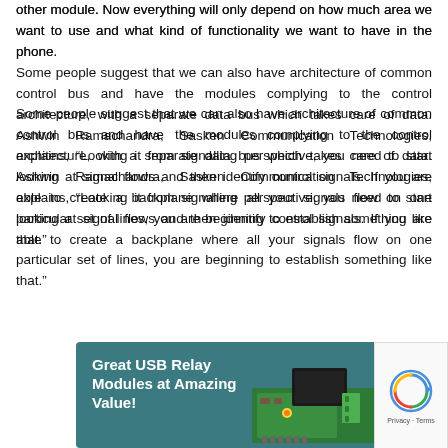other module. Now everything will only depend on how much area we want to use and what kind of functionality we want to have in the phone.
Some people suggest that we can also have architecture of common control bus and have the modules complying to the control architecture, with a separate data bus which takes care of data. Ashwin Ramachandra, Sasken Communication Technologies, explains, “Looking it from signalling perspective, you need to start looking at signal flows and then identify control signals. If you are able to create a backplane where all your signals flow on one particular set of lines, you are beginning to establish something like that.”
[Figure (photo): Advertisement banner for 'Great USB Relay Modules at Amazing Value!' showing a green PCB with relay component on a teal/dark cyan background.]